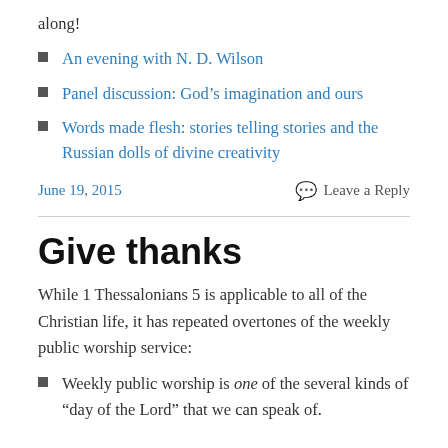along!
An evening with N. D. Wilson
Panel discussion: God’s imagination and ours
Words made flesh: stories telling stories and the Russian dolls of divine creativity
June 19, 2015
Leave a Reply
Give thanks
While 1 Thessalonians 5 is applicable to all of the Christian life, it has repeated overtones of the weekly public worship service:
Weekly public worship is one of the several kinds of “day of the Lord” that we can speak of.